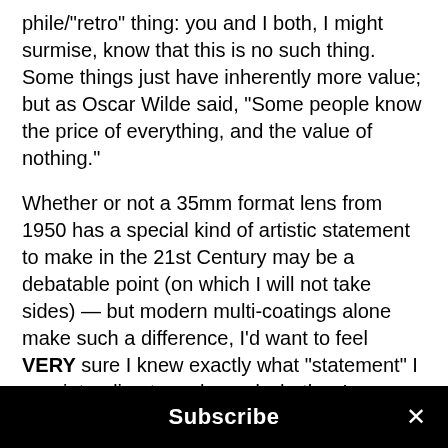phile/"retro" thing: you and I both, I might surmise, know that this is no such thing. Some things just have inherently more value; but as Oscar Wilde said, "Some people know the price of everything, and the value of nothing."
Whether or not a 35mm format lens from 1950 has a special kind of artistic statement to make in the 21st Century may be a debatable point (on which I will not take sides) — but modern multi-coatings alone make such a difference, I'd want to feel VERY sure I knew exactly what "statement" I was intending to make and whether I was confident I could realize that vision in a print or on 'flickr' before I'd ever want to give up the modern advantages. Not so with vinyl, which easily tru…
Subscribe ×